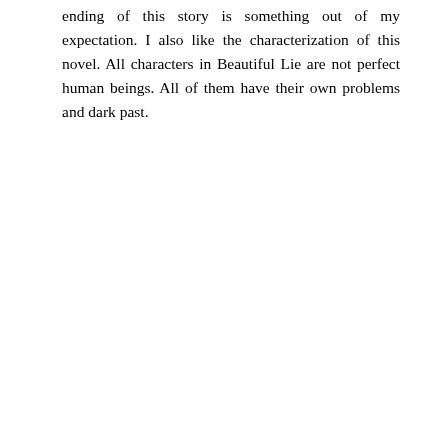ending of this story is something out of my expectation. I also like the characterization of this novel. All characters in Beautiful Lie are not perfect human beings. All of them have their own problems and dark past.